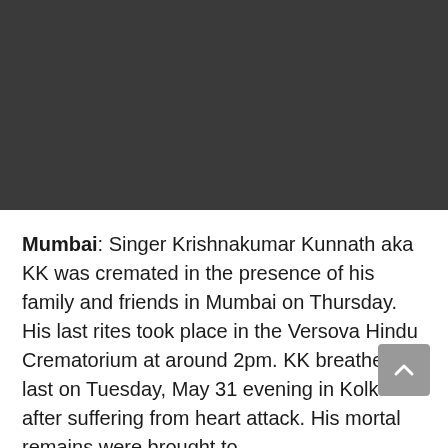[Figure (photo): Dark banner/image area at the top of the page, appearing as a dark gray or black rectangle, likely a photo of an event or person related to the article.]
Mumbai: Singer Krishnakumar Kunnath aka KK was cremated in the presence of his family and friends in Mumbai on Thursday. His last rites took place in the Versova Hindu Crematorium at around 2pm. KK breathed his last on Tuesday, May 31 evening in Kolkata after suffering from heart attack. His mortal remains were brought to